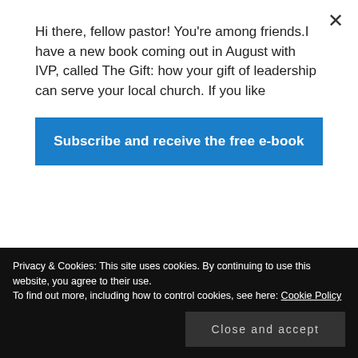Hi there, fellow pastor! You're among friends.I have a new book coming out in August with IVP, called The Gift: how your gift of leadership can serve your local church. If you like
Subscribe and receive the free e-book
03/10/2016 at 4:08 pm
Done! I've clipped some pages, etc. No idea where to start with notebooks and topics! Will it help to get it on my phone? I love the
Privacy & Cookies: This site uses cookies. By continuing to use this website, you agree to their use.
To find out more, including how to control cookies, see here: Cookie Policy
Close and accept